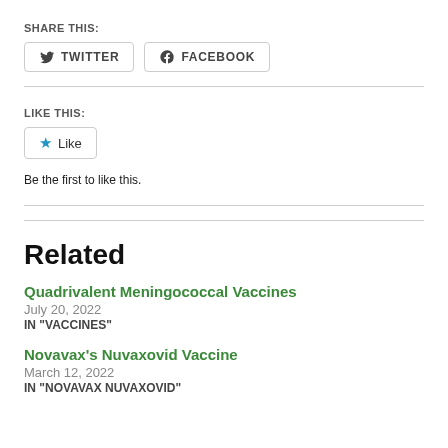SHARE THIS:
TWITTER  FACEBOOK
LIKE THIS:
Like
Be the first to like this.
Related
Quadrivalent Meningococcal Vaccines
July 20, 2022
IN "VACCINES"
Novavax's Nuvaxovid Vaccine
March 12, 2022
IN "NOVAVAX NUVAXOVID"